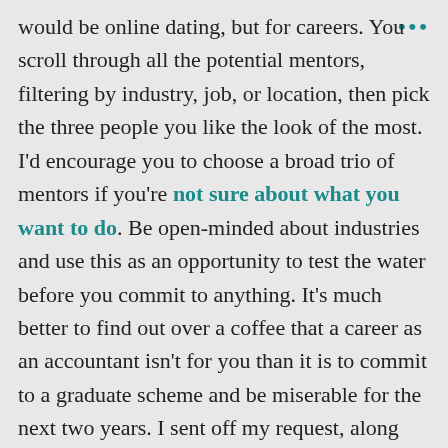would be online dating, but for careers. You scroll through all the potential mentors, filtering by industry, job, or location, then pick the three people you like the look of the most. I'd encourage you to choose a broad trio of mentors if you're not sure about what you want to do. Be open-minded about industries and use this as an opportunity to test the water before you commit to anything. It's much better to find out over a coffee that a career as an accountant isn't for you than it is to commit to a graduate scheme and be miserable for the next two years. I sent off my request, along with a